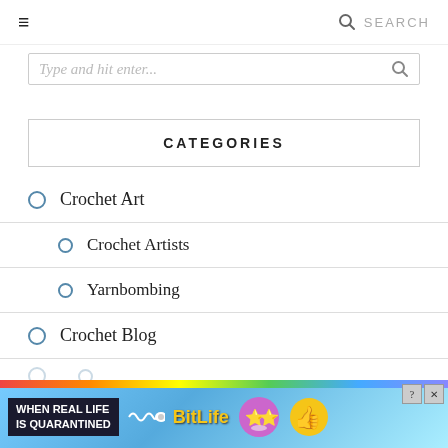≡   🔍 SEARCH
Type and hit enter...
CATEGORIES
Crochet Art
Crochet Artists
Yarnbombing
Crochet Blog
[Figure (other): Advertisement banner: BitLife game ad with rainbow colors and text 'WHEN REAL LIFE IS QUARANTINED']